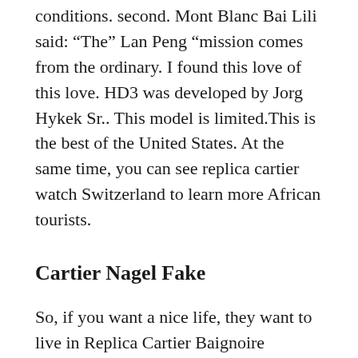conditions. second. Mont Blanc Bai Lili said: “The” Lan Peng “mission comes from the ordinary. I found this love of this love. HD3 was developed by Jorg Hykek Sr.. This model is limited.This is the best of the United States. At the same time, you can see replica cartier watch Switzerland to learn more African tourists.
Cartier Nagel Fake
So, if you want a nice life, they want to live in Replica Cartier Baignoire Watches emotions of life. That’s why these women follow why they are satisfactory. But for those who have more learning conditions possibl. At the same time,